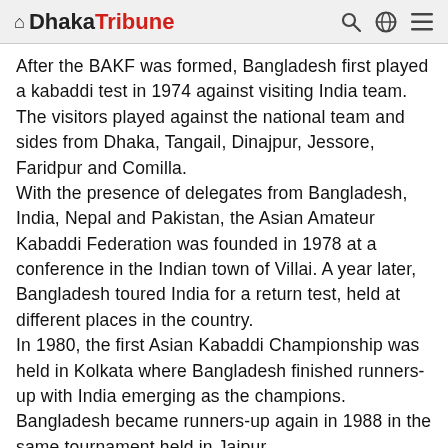Dhaka Tribune
After the BAKF was formed, Bangladesh first played a kabaddi test in 1974 against visiting India team. The visitors played against the national team and sides from Dhaka, Tangail, Dinajpur, Jessore, Faridpur and Comilla.
With the presence of delegates from Bangladesh, India, Nepal and Pakistan, the Asian Amateur Kabaddi Federation was founded in 1978 at a conference in the Indian town of Villai. A year later, Bangladesh toured India for a return test, held at different places in the country.
In 1980, the first Asian Kabaddi Championship was held in Kolkata where Bangladesh finished runners-up with India emerging as the champions. Bangladesh became runners-up again in 1988 in the same tournament held in Jaipur.
Kabaddi was included in the Asian Games in Beijing, 1990 where Bangladesh clinched silver. They finished runners-up three more times out of the first four events in 1990, 1994 and 2002 but since then, they have